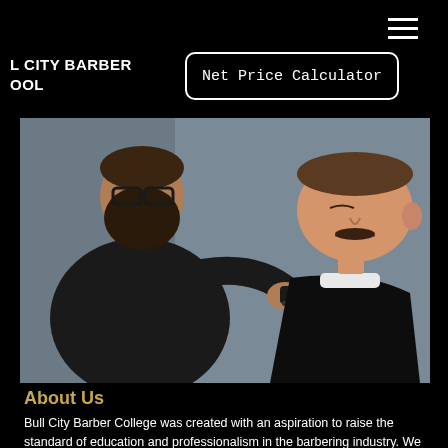L CITY BARBER OOL
Net Price Calculator
[Figure (photo): A bearded barber with glasses carefully trims a seated client's mustache with electric clippers in a barbershop setting.]
About Us
Bull City Barber College was created with an aspiration to raise the standard of education and professionalism in the barbering industry. We